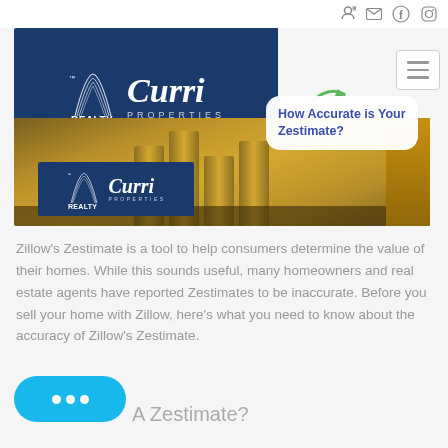Navigation icons: login, email, facebook, instagram
[Figure (photo): Realty World Curri Properties banner with stacked gold coins background, speech bubble saying 'How Accurate is Your Zestimate?', small logo overlay at bottom left]
Zillow's Zestimate is a tool to help consumers determine the value of their homes. While this sounds useful, many homeowners and real estate agents have reported Zestimates to be inaccurate. Before you sell your home with Zillow, here's what you need to know about the accuracy of Zillow's Zestimate.
[Figure (illustration): Cyan/blue chat bubble button with three dots]
A Zestimate?